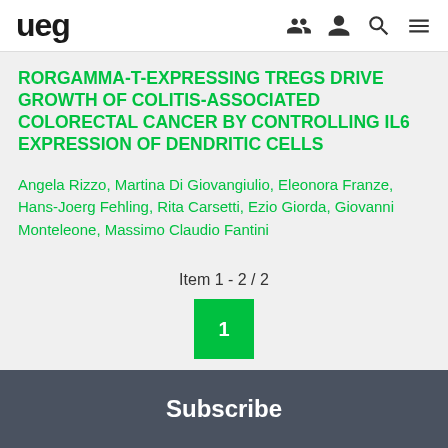ueg
RORGAMMA-T-EXPRESSING TREGS DRIVE GROWTH OF COLITIS-ASSOCIATED COLORECTAL CANCER BY CONTROLLING IL6 EXPRESSION OF DENDRITIC CELLS
Angela Rizzo, Martina Di Giovangiulio, Eleonora Franze, Hans-Joerg Fehling, Rita Carsetti, Ezio Giorda, Giovanni Monteleone, Massimo Claudio Fantini
Item 1 - 2 / 2
1
Subscribe